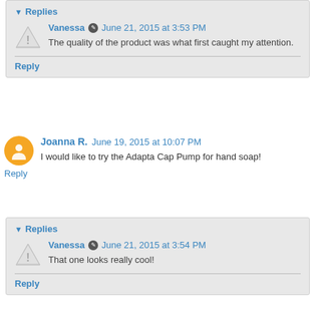Replies
Vanessa  June 21, 2015 at 3:53 PM
The quality of the product was what first caught my attention.
Reply
Joanna R.  June 19, 2015 at 10:07 PM
I would like to try the Adapta Cap Pump for hand soap!
Reply
Replies
Vanessa  June 21, 2015 at 3:54 PM
That one looks really cool!
Reply